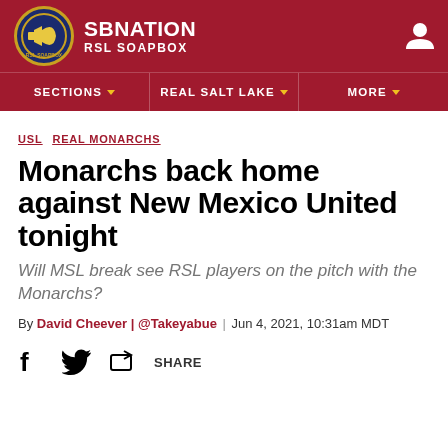SBNATION RSL SOAPBOX
SECTIONS | REAL SALT LAKE | MORE
USL REAL MONARCHS
Monarchs back home against New Mexico United tonight
Will MSL break see RSL players on the pitch with the Monarchs?
By David Cheever | @Takeyabue | Jun 4, 2021, 10:31am MDT